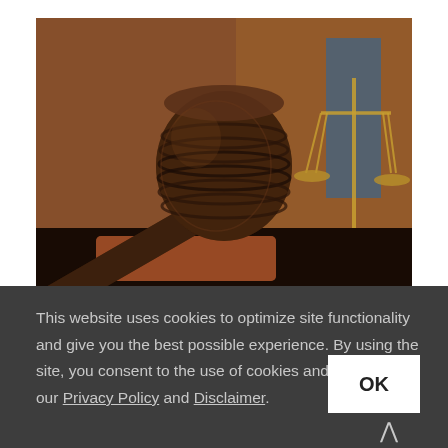[Figure (photo): Close-up photo of a wooden judge's gavel resting on its block, with a blurred brass scales of justice in the background on a wooden surface in a courtroom setting.]
This website uses cookies to optimize site functionality and give you the best possible experience. By using the site, you consent to the use of cookies and the terms of our Privacy Policy and Disclaimer.